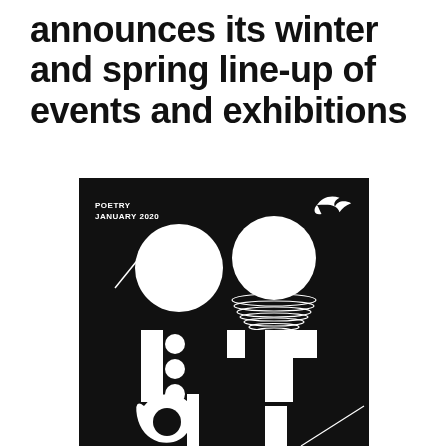announces its winter and spring line-up of events and exhibitions
[Figure (illustration): Black book cover for Poetry January 2020. Features abstract geometric shapes in white on black background: two large circles (one plain, one with concentric arc lines), geometric letterforms spelling out 'poetry' using rectangles and circles, and a small bird/swallow logo in the top right corner. Text reads POETRY JANUARY 2020 in the top left.]